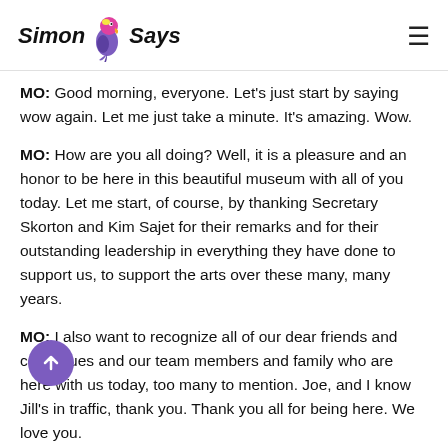Simon Says
MO: Good morning, everyone. Let's just start by saying wow again. Let me just take a minute. It's amazing. Wow.
MO: How are you all doing? Well, it is a pleasure and an honor to be here in this beautiful museum with all of you today. Let me start, of course, by thanking Secretary Skorton and Kim Sajet for their remarks and for their outstanding leadership in everything they have done to support us, to support the arts over these many, many years.
MO: I also want to recognize all of our dear friends and colleagues and our team members and family who are here with us today, too many to mention. Joe, and I know Jill's in traffic, thank you. Thank you all for being here. We love you.